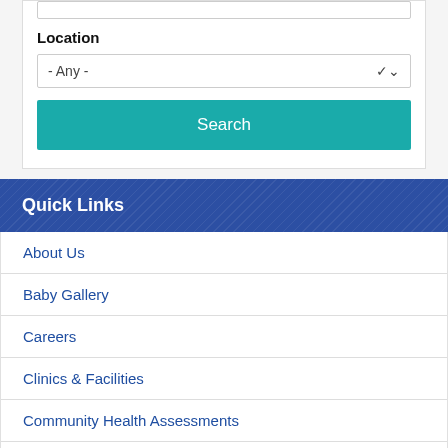Location
- Any -
Search
Quick Links
About Us
Baby Gallery
Careers
Clinics & Facilities
Community Health Assessments
Find a Provider
Make an Appointment